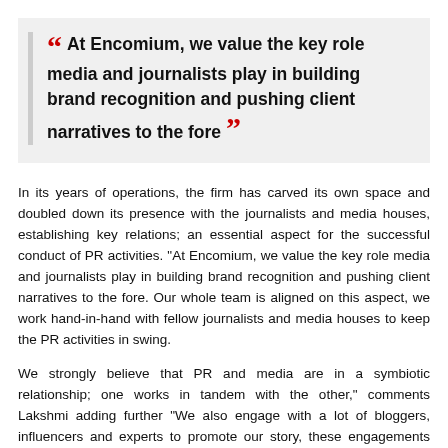At Encomium, we value the key role media and journalists play in building brand recognition and pushing client narratives to the fore
In its years of operations, the firm has carved its own space and doubled down its presence with the journalists and media houses, establishing key relations; an essential aspect for the successful conduct of PR activities. "At Encomium, we value the key role media and journalists play in building brand recognition and pushing client narratives to the fore. Our whole team is aligned on this aspect, we work hand-in-hand with fellow journalists and media houses to keep the PR activities in swing.
We strongly believe that PR and media are in a symbiotic relationship; one works in tandem with the other," comments Lakshmi adding further "We also engage with a lot of bloggers, influencers and experts to promote our story, these engagements are very important in this digitally accelerated age. Influencing the influencers to reach end-customers is an